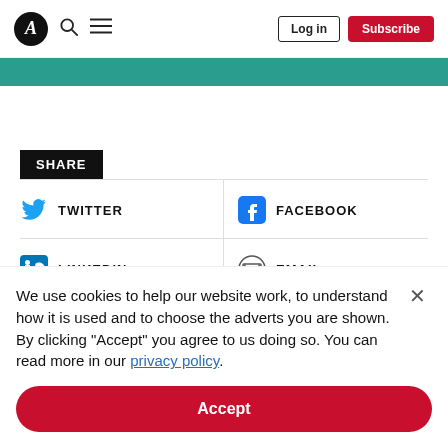The Atlantic - Log in | Subscribe
[Figure (other): Teal/green colored banner strip]
SHARE
TWITTER
FACEBOOK
LINKEDIN
EMAIL
We use cookies to help our website work, to understand how it is used and to choose the adverts you are shown. By clicking "Accept" you agree to us doing so. You can read more in our privacy policy.
Accept